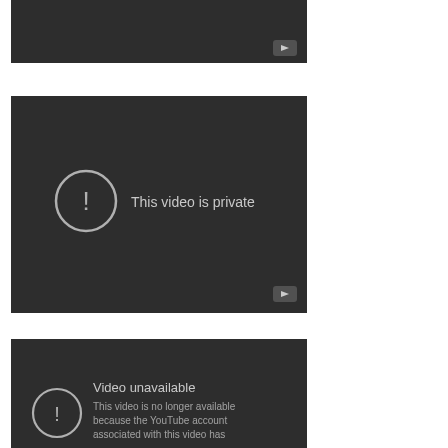[Figure (screenshot): YouTube video embed showing a dark/black video player with a YouTube play button in the bottom right corner. No video content visible.]
[Figure (screenshot): YouTube video embed showing 'This video is private' error message with an exclamation mark icon in a circle, and a YouTube play button in the bottom right corner.]
[Figure (screenshot): YouTube video embed showing 'Video unavailable' and 'This video is no longer available because the YouTube account' message, partially cut off, with an exclamation icon.]